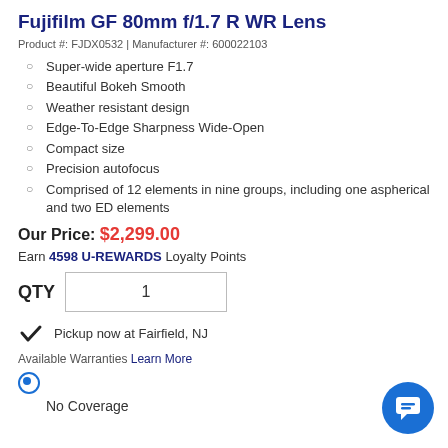Fujifilm GF 80mm f/1.7 R WR Lens
Product #: FJDX0532 | Manufacturer #: 600022103
Super-wide aperture F1.7
Beautiful Bokeh Smooth
Weather resistant design
Edge-To-Edge Sharpness Wide-Open
Compact size
Precision autofocus
Comprised of 12 elements in nine groups, including one aspherical and two ED elements
Our Price: $2,299.00
Earn 4598 U-REWARDS Loyalty Points
QTY 1
Pickup now at Fairfield, NJ
Available Warranties Learn More
No Coverage